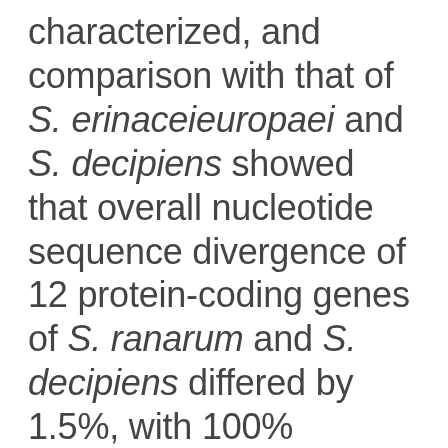characterized, and comparison with that of S. erinaceieuropaei and S. decipiens showed that overall nucleotide sequence divergence of 12 protein-coding genes of S. ranarum and S. decipiens differed by 1.5%, with 100% sequence similarity in the cox2 and nad6 genes, while the DNA sequence divergence of